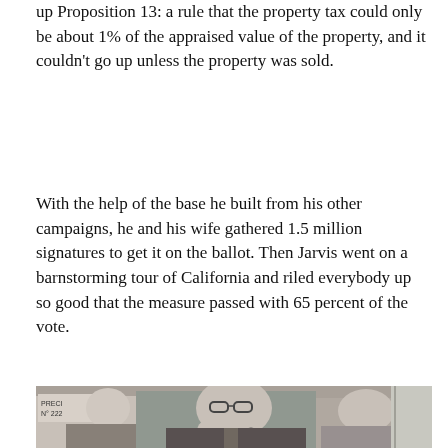up Proposition 13: a rule that the property tax could only be about 1% of the appraised value of the property, and it couldn't go up unless the property was sold.
With the help of the base he built from his other campaigns, he and his wife gathered 1.5 million signatures to get it on the ballot. Then Jarvis went on a barnstorming tour of California and riled everybody up so good that the measure passed with 65 percent of the vote.
[Figure (photo): Black and white photograph of three men smiling and celebrating. The man in the center is making a peace/victory sign with his hand and wearing glasses and a 'Yes 13' button on his lapel. A sign reading 'PRECINCT No. 222' is visible in the background on the left.]